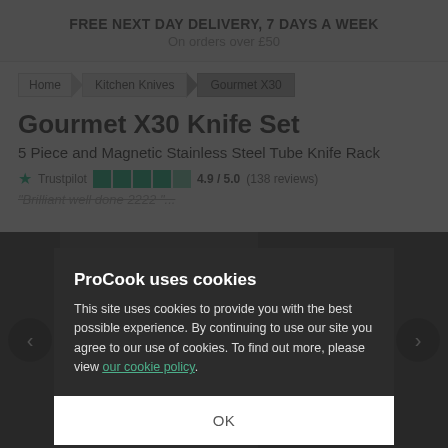FREE NEXT DAY DELIVERY, 7 DAYS A WEEK
On orders over £50
Home > Kitchen Knives > Gourmet X30
Gourmet X30 Knife Set
5 Piece and Magnetic Stainless Steel Tube Knife Rack
Trustpilot 4.9 / 5.0 (138 reviews)
"Brilliant well done 2222 "
[Figure (photo): Product image area showing knife set with dark background, navigation arrows and thumbnail images]
ProCook uses cookies
This site uses cookies to provide you with the best possible experience. By continuing to use our site you agree to our use of cookies. To find out more, please view our cookie policy.
OK